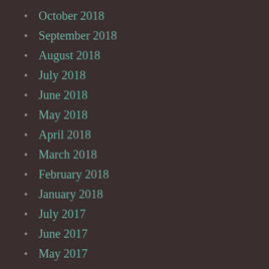October 2018
September 2018
August 2018
July 2018
June 2018
May 2018
April 2018
March 2018
February 2018
January 2018
July 2017
June 2017
May 2017
April 2017
January 2017
December 2016
November 2016
October 2016
September 2016